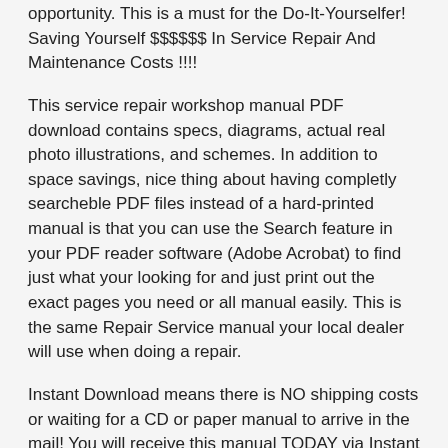opportunity. This is a must for the Do-It-Yourselfer! Saving Yourself $$$$$$ In Service Repair And Maintenance Costs !!!!
This service repair workshop manual PDF download contains specs, diagrams, actual real photo illustrations, and schemes. In addition to space savings, nice thing about having completly searcheble PDF files instead of a hard-printed manual is that you can use the Search feature in your PDF reader software (Adobe Acrobat) to find just what your looking for and just print out the exact pages you need or all manual easily. This is the same Repair Service manual your local dealer will use when doing a repair.
Instant Download means there is NO shipping costs or waiting for a CD or paper manual to arrive in the mail! You will receive this manual TODAY via Instant Download on completion of payment via our secure payment processor. We accept ALL major credit/debit cards/paypal.